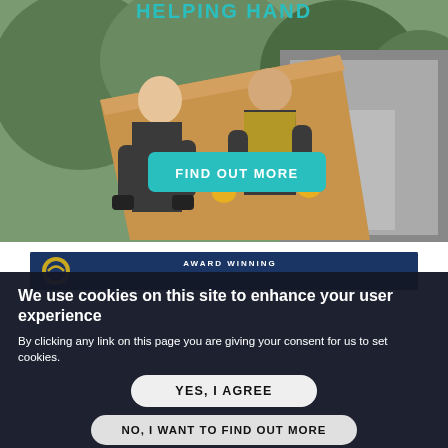[Figure (photo): Two workers carrying a large cardboard box from a delivery truck, with a teal 'FIND OUT MORE' button overlaid. Partial 'HELPING HAND' text visible at top in teal letters.]
[Figure (screenshot): Partial view of a second advertisement banner with dark navy background and a logo on left, partial text on right beginning with 'AWARD WINNING'.]
We use cookies on this site to enhance your user experience
By clicking any link on this page you are giving your consent for us to set cookies.
YES, I AGREE
NO, I WANT TO FIND OUT MORE